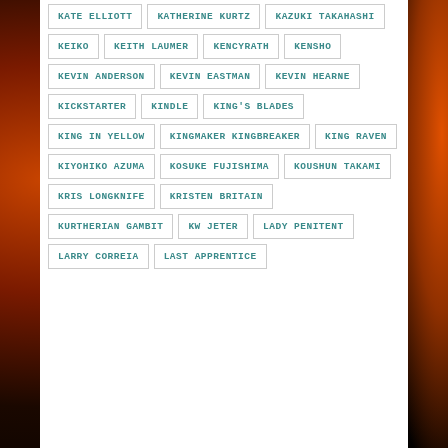KATE ELLIOTT
KATHERINE KURTZ
KAZUKI TAKAHASHI
KEIKO
KEITH LAUMER
KENCYRATH
KENSHO
KEVIN ANDERSON
KEVIN EASTMAN
KEVIN HEARNE
KICKSTARTER
KINDLE
KING'S BLADES
KING IN YELLOW
KINGMAKER KINGBREAKER
KING RAVEN
KIYOHIKO AZUMA
KOSUKE FUJISHIMA
KOUSHUN TAKAMI
KRIS LONGKNIFE
KRISTEN BRITAIN
KURTHERIAN GAMBIT
KW JETER
LADY PENITENT
LARRY CORREIA
LAST APPRENTICE